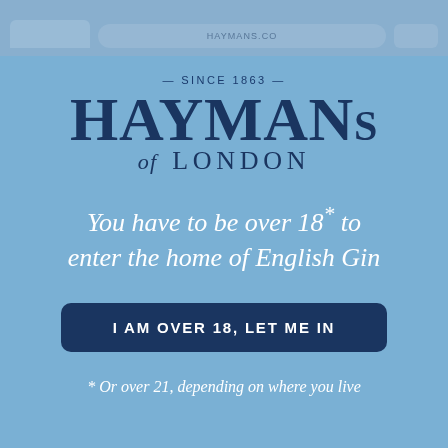[Figure (screenshot): Browser chrome top bar with tab and URL bar, blurred/faded]
— SINCE 1863 — HAYMANS of LONDON
You have to be over 18* to enter the home of English Gin
I AM OVER 18, LET ME IN
* Or over 21, depending on where you live